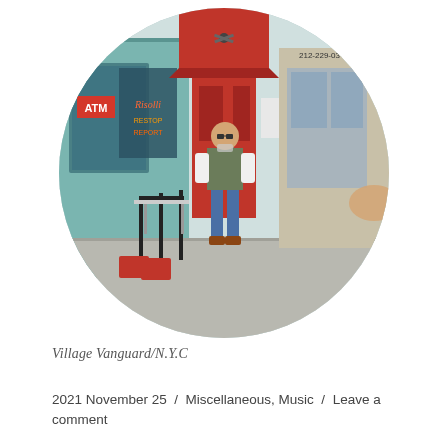[Figure (photo): A person wearing sunglasses, a green vest, white long-sleeve shirt, and jeans stands in front of the Village Vanguard jazz club in New York City. The entrance has a distinctive red door and red awning. An ATM sign is visible on the left side, and neon signs are in the window. The image is cropped in an oval shape.]
Village Vanguard/N.Y.C
2021 November 25 / Miscellaneous, Music / Leave a comment